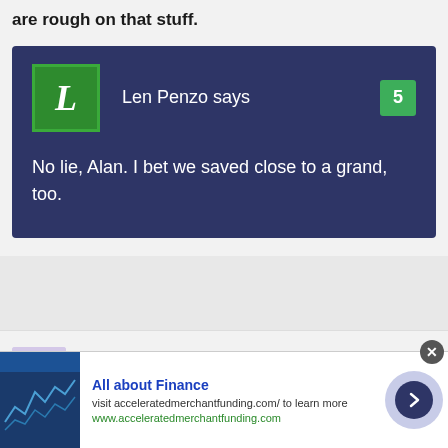are rough on that stuff.
Len Penzo says
No lie, Alan. I bet we saved close to a grand, too.
Fernando R says
All about Finance
visit acceleratedmerchantfunding.com/ to learn more
www.acceleratedmerchantfunding.com